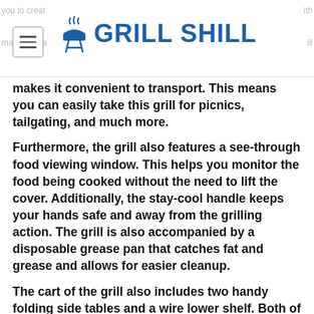GRILL SHILL
makes it convenient to transport. This means you can easily take this grill for picnics, tailgating, and much more.
Furthermore, the grill also features a see-through food viewing window. This helps you monitor the food being cooked without the need to lift the cover. Additionally, the stay-cool handle keeps your hands safe and away from the grilling action. The grill is also accompanied by a disposable grease pan that catches fat and grease and allows for easier cleanup.
The cart of the grill also includes two handy folding side tables and a wire lower shelf. Both of these are constructed of a weather-resistant wood-composite. These help you accommodate your cooking supplies right next to the grill as offered with the best compact tabletop